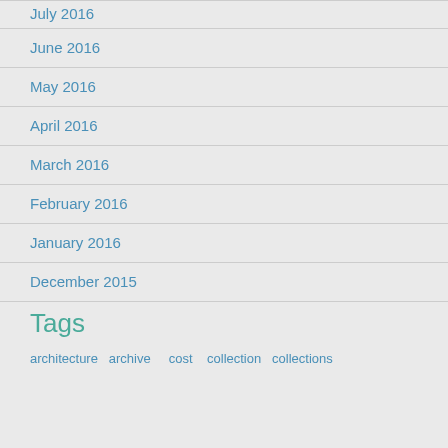July 2016
June 2016
May 2016
April 2016
March 2016
February 2016
January 2016
December 2015
Tags
architecture  cost  collection  collections